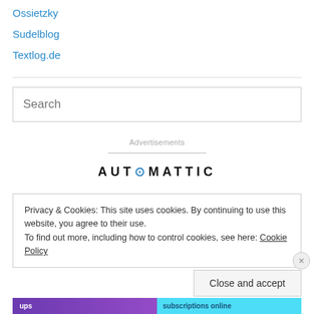Ossietzky
Sudelblog
Textlog.de
Search
Advertisements
[Figure (logo): Automattic logo text in dark letters]
Privacy & Cookies: This site uses cookies. By continuing to use this website, you agree to their use.
To find out more, including how to control cookies, see here: Cookie Policy
Close and accept
[Figure (infographic): Partial advertisement banner with purple gradient and text 'subscriptions online']